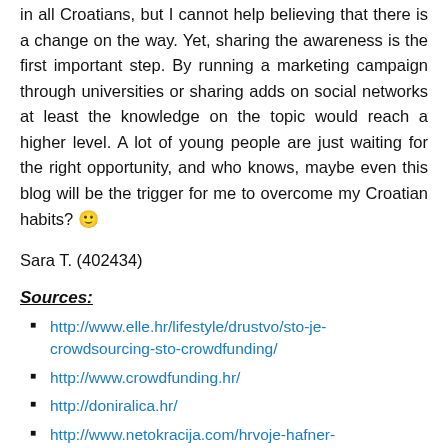in all Croatians, but I cannot help believing that there is a change on the way. Yet, sharing the awareness is the first important step. By running a marketing campaign through universities or sharing adds on social networks at least the knowledge on the topic would reach a higher level. A lot of young people are just waiting for the right opportunity, and who knows, maybe even this blog will be the trigger for me to overcome my Croatian habits? 🙂
Sara T. (402434)
Sources:
http://www.elle.hr/lifestyle/drustvo/sto-je-crowdsourcing-sto-crowdfunding/
http://www.crowdfunding.hr/
http://doniralica.hr/
http://www.netokracija.com/hrvoje-hafner-